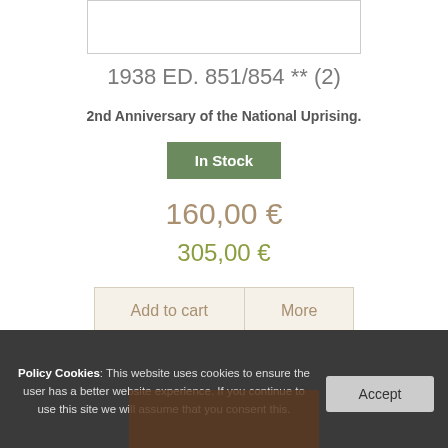[Figure (photo): Partial view of stamp image box at top of page]
1938 ED. 851/854 ** (2)
2nd Anniversary of the National Uprising.
In Stock
160,00 €
305,00 €
Add to cart
More
Policy Cookies: This website uses cookies to ensure the user has a better website experience. If you continue to use this site we will assume that you consent this.
Accept
[Figure (photo): Partial stamp image visible at bottom of cookie bar]